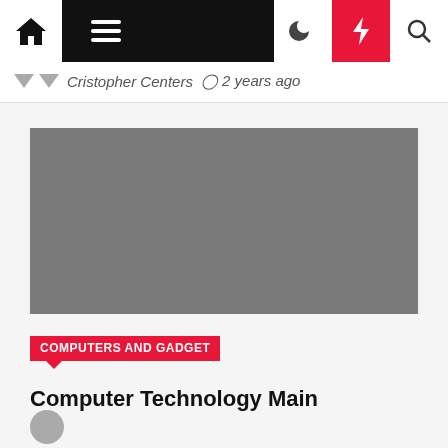Navigation bar with home, menu, dark mode, flash, and search icons
Cristopher Centers  ⊙ 2 years ago
[Figure (photo): Gray placeholder image for article thumbnail]
COMPUTERS AND GADGET
Computer Technology Main